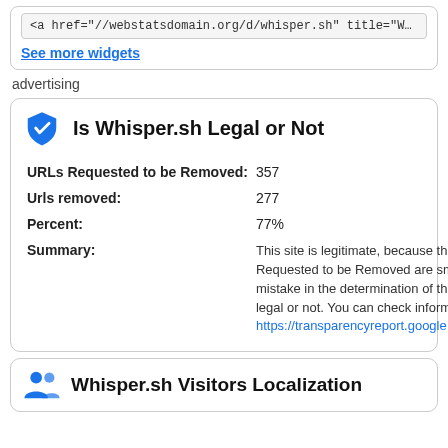<a href="//webstatsdomain.org/d/whisper.sh" title="Whisper.sh website reput
See more widgets
advertising
Is Whisper.sh Legal or Not
| Field | Value |
| --- | --- |
| URLs Requested to be Removed: | 357 |
| Urls removed: | 277 |
| Percent: | 77% |
| Summary: | This site is legitimate, because the number Requested to be Removed are small and mistake in the determination of the status legal or not. You can check information he https://transparencyreport.google.com/cop |
Whisper.sh Visitors Localization